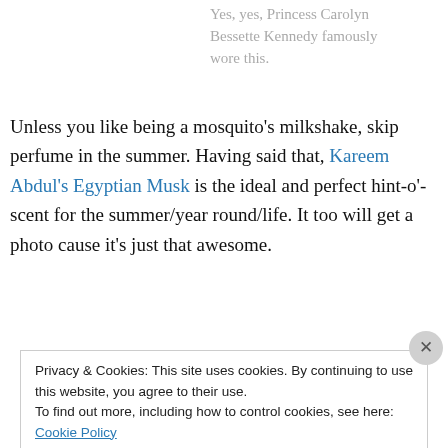Yes, yes, Princess Carolyn Bessette Kennedy famously wore this.
Unless you like being a mosquito's milkshake, skip perfume in the summer. Having said that, Kareem Abdul's Egyptian Musk is the ideal and perfect hint-o'-scent for the summer/year round/life. It too will get a photo cause it's just that awesome.
Privacy & Cookies: This site uses cookies. By continuing to use this website, you agree to their use.
To find out more, including how to control cookies, see here: Cookie Policy
Close and accept